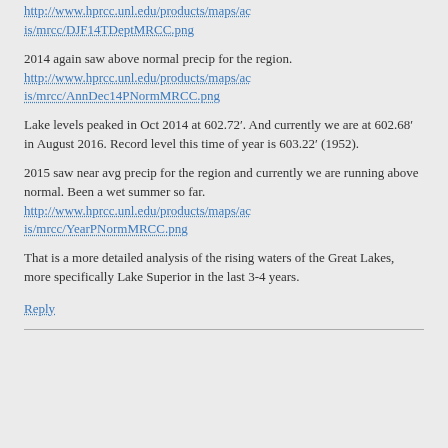http://www.hprcc.unl.edu/products/maps/acis/mrcc/DJF14TDeptMRCC.png
2014 again saw above normal precip for the region.
http://www.hprcc.unl.edu/products/maps/acis/mrcc/AnnDec14PNormMRCC.png
Lake levels peaked in Oct 2014 at 602.72’. And currently we are at 602.68’ in August 2016. Record level this time of year is 603.22’ (1952).
2015 saw near avg precip for the region and currently we are running above normal. Been a wet summer so far.
http://www.hprcc.unl.edu/products/maps/acis/mrcc/YearPNormMRCC.png
That is a more detailed analysis of the rising waters of the Great Lakes, more specifically Lake Superior in the last 3-4 years.
Reply